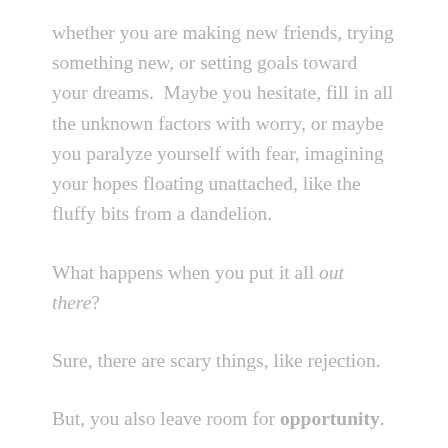whether you are making new friends, trying something new, or setting goals toward your dreams.  Maybe you hesitate, fill in all the unknown factors with worry, or maybe you paralyze yourself with fear, imagining your hopes floating unattached, like the fluffy bits from a dandelion.
What happens when you put it all out there?
Sure, there are scary things, like rejection.
But, you also leave room for opportunity.
This past week I got the chance to be a literary judge for a local elementary school's PTA Reflections program.  They were looking for a writer.  My dandelion bits made their